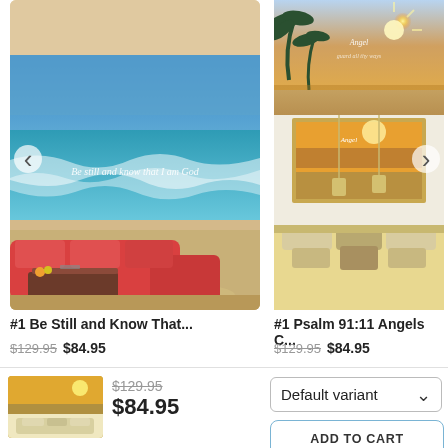[Figure (photo): Wall art canvas product: Be Still and Know That... - beach ocean scene with scripture text overlaid, shown above a red sectional sofa in a living room setting]
#1 Be Still and Know That...
$129.95 $84.95
[Figure (photo): Wall art canvas product: #1 Psalm 91:11 Angels C... - tropical beach sunset scene, shown above a bedroom with decorative pillows]
#1 Psalm 91:11 Angels C...
$129.95 $84.95
[Figure (photo): Thumbnail of a wall art canvas showing a sunset/beach scene with gold frame, displayed in a room]
$129.95
$84.95
Default variant
ADD TO CART